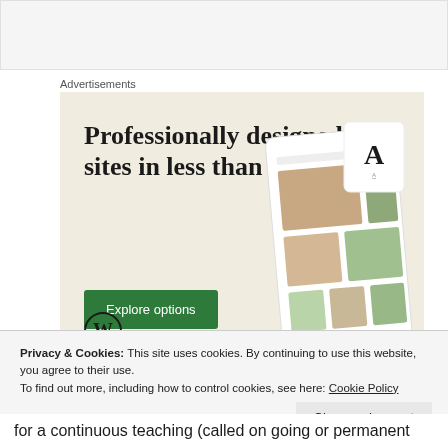[Figure (screenshot): Top portion of a webpage, partially visible gray content area]
Advertisements
[Figure (infographic): WordPress advertisement banner with beige/cream background. Headline: 'Professionally designed sites in less than a week'. Green 'Explore options' button. WordPress logo (W in circle) at bottom left. Phone/tablet mockups showing website designs on the right side.]
Privacy & Cookies: This site uses cookies. By continuing to use this website, you agree to their use.
To find out more, including how to control cookies, see here: Cookie Policy
Close and accept
for a continuous teaching (called on going or permanent